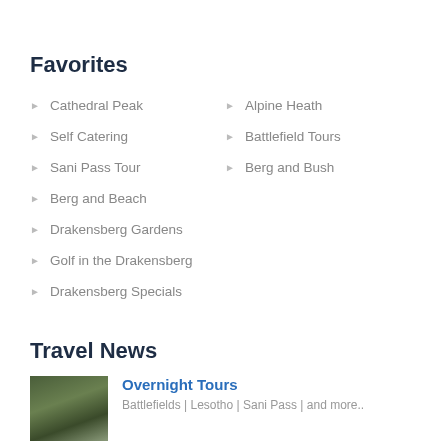Favorites
Cathedral Peak
Alpine Heath
Self Catering
Battlefield Tours
Sani Pass Tour
Berg and Bush
Berg and Beach
Drakensberg Gardens
Golf in the Drakensberg
Drakensberg Specials
Travel News
[Figure (photo): Thumbnail photo for Overnight Tours travel news item]
Overnight Tours
Battlefields | Lesotho | Sani Pass | and more..